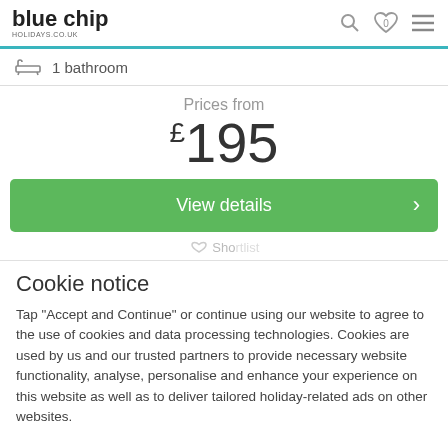blue chip HOLIDAYS.CO.UK
1 bathroom
Prices from
£195
View details
Cookie notice
Tap "Accept and Continue" or continue using our website to agree to the use of cookies and data processing technologies. Cookies are used by us and our trusted partners to provide necessary website functionality, analyse, personalise and enhance your experience on this website as well as to deliver tailored holiday-related ads on other websites.
Accept and Continue